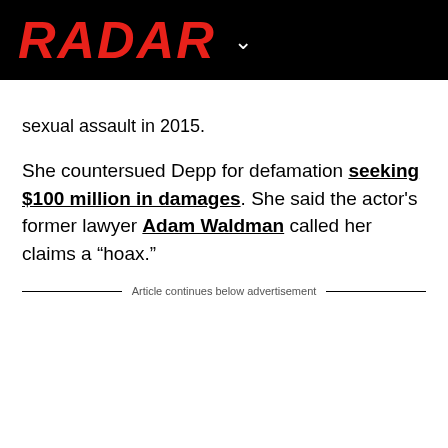RADAR
sexual assault in 2015.
She countersued Depp for defamation seeking $100 million in damages. She said the actor’s former lawyer Adam Waldman called her claims a “hoax.”
Article continues below advertisement